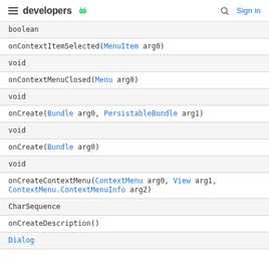developers [android logo] | [search] Sign in
| boolean |
| onContextItemSelected(MenuItem arg0) |
| void |
| onContextMenuClosed(Menu arg0) |
| void |
| onCreate(Bundle arg0, PersistableBundle arg1) |
| void |
| onCreate(Bundle arg0) |
| void |
| onCreateContextMenu(ContextMenu arg0, View arg1, ContextMenu.ContextMenuInfo arg2) |
| CharSequence |
| onCreateDescription() |
| Dialog |